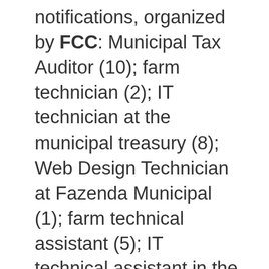notifications, organized by FCC: Municipal Tax Auditor (10); farm technician (2); IT technician at the municipal treasury (8); Web Design Technician at Fazenda Municipal (1); farm technical assistant (5); IT technical assistant in the municipal farm – programmer (12); IT Technical Assistant in Municipal Farm – Support (12).
The notices are valid for two years...
We use cookies on our website to give you the most relevant experience by remembering your preferences and repeat visits. By clicking "Accept All", you consent to the use of ALL the cookies. However, you may visit "Cookie Settings" to provide a controlled consent.